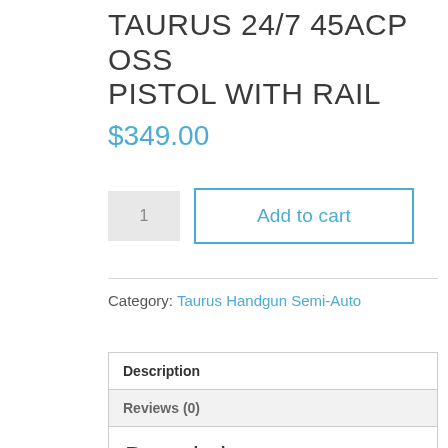TAURUS 24/7 45ACP OSS PISTOL WITH RAIL
$349.00
1  Add to cart
Category: Taurus Handgun Semi-Auto
Description
Reviews (0)
Description
Developed through direct feedback from